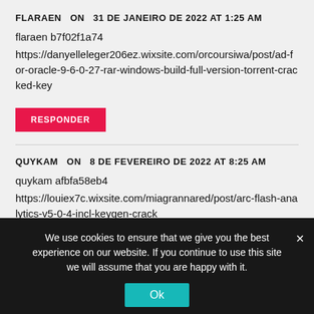FLARAEN   ON   31 DE JANEIRO DE 2022 AT 1:25 AM
flaraen b7f02f1a74
https://danyelleleger206ez.wixsite.com/orcoursiwa/post/ad-for-oracle-9-6-0-27-rar-windows-build-full-version-torrent-cracked-key
RESPONDER
QUYKAM   ON   8 DE FEVEREIRO DE 2022 AT 8:25 AM
quykam afbfa58eb4
https://louiex7c.wixsite.com/miagrannared/post/arc-flash-analytics-v5-0-4-incl-keygen-crack
RESPONDER
We use cookies to ensure that we give you the best experience on our website. If you continue to use this site we will assume that you are happy with it.
Ok